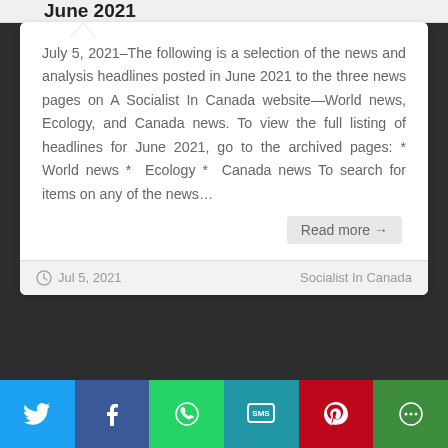June 2021
July 5, 2021–The following is a selection of the news and analysis headlines posted in June 2021 to the three news pages on A Socialist In Canada website—World news, Ecology, and Canada news. To view the full listing of headlines for June 2021, go to the archived pages: * World news *  Ecology *  Canada news To search for items on any of the news…
Read more →
Jul 5, 2021    Socialist In Canada